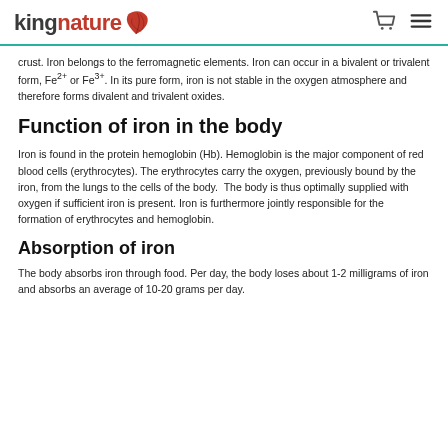kingnature
crust. Iron belongs to the ferromagnetic elements. Iron can occur in a bivalent or trivalent form, Fe2+ or Fe3+. In its pure form, iron is not stable in the oxygen atmosphere and therefore forms divalent and trivalent oxides.
Function of iron in the body
Iron is found in the protein hemoglobin (Hb). Hemoglobin is the major component of red blood cells (erythrocytes). The erythrocytes carry the oxygen, previously bound by the iron, from the lungs to the cells of the body. The body is thus optimally supplied with oxygen if sufficient iron is present. Iron is furthermore jointly responsible for the formation of erythrocytes and hemoglobin.
Absorption of iron
The body absorbs iron through food. Per day, the body loses about 1-2 milligrams of iron and absorbs an average of 10-20 grams per day.